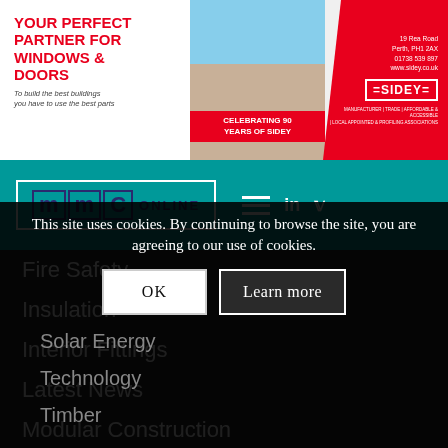[Figure (illustration): Sidey windows & doors advertisement banner with red and white design, house photo, and 'Celebrating 90 Years of Sidey' text]
[Figure (logo): MMC Online website header logo with hamburger menu, LinkedIn and Twitter icons on teal background]
Fire Safety
Insulation
Interior Fittings
Latest News
Modular Construction
News
Offsite Manufacturing
Solar Energy
Technology
Timber
This site uses cookies. By continuing to browse the site, you are agreeing to our use of cookies.